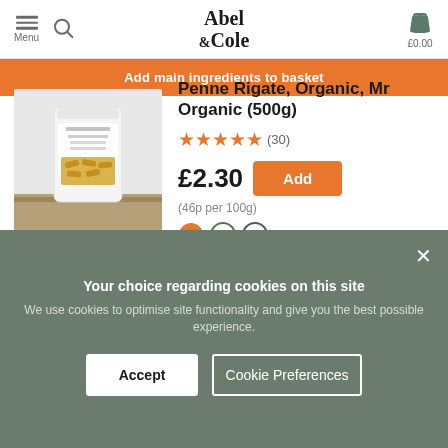Abel & Cole  Menu  £0.00
Add main ingredients to basket
[Figure (photo): Bag of Penne Rigate Organic pasta by Mr Organic on a wooden surface]
Penne Rigate, Organic, Mr Organic (500g)
★★★★★ (30)
£2.30  Add
(46p per 100g)
Your choice regarding cookies on this site
We use cookies to optimise site functionality and give you the best possible experience.
Accept  Cookie Preferences